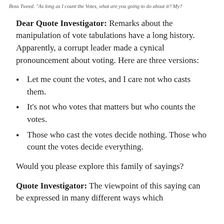Boss Tweed. "As long as I count the Votes, what are you going to do about it? My?
Dear Quote Investigator: Remarks about the manipulation of vote tabulations have a long history. Apparently, a corrupt leader made a cynical pronouncement about voting. Here are three versions:
Let me count the votes, and I care not who casts them.
It’s not who votes that matters but who counts the votes.
Those who cast the votes decide nothing. Those who count the votes decide everything.
Would you please explore this family of sayings?
Quote Investigator: The viewpoint of this saying can be expressed in many different ways which